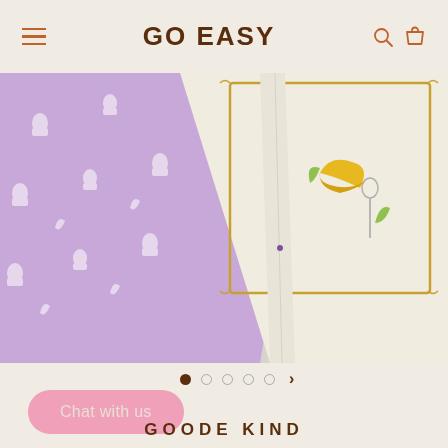GO EASY
[Figure (photo): Close-up photo of two overlapping notebooks/journals on a marble surface. One is purple/lavender with a ghost/kawaii pattern. The other is cream/white with a gold decorative frame border and banana/spoon illustration.]
Chat with us
GOODE KIND